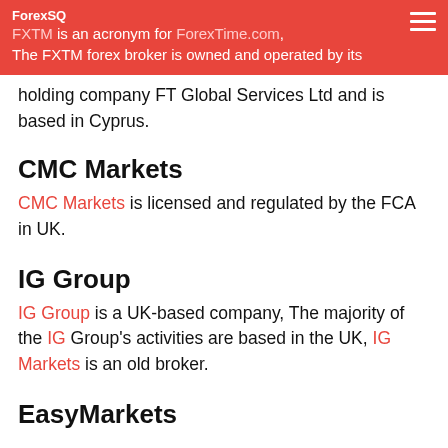ForexSQ — FXTM is an acronym for ForexTime.com, The FXTM forex broker is owned and operated by its holding company FT Global Services Ltd and is based in Cyprus.
holding company FT Global Services Ltd and is based in Cyprus.
CMC Markets
CMC Markets is licensed and regulated by the FCA in UK.
IG Group
IG Group is a UK-based company, The majority of the IG Group's activities are based in the UK, IG Markets is an old broker.
EasyMarkets